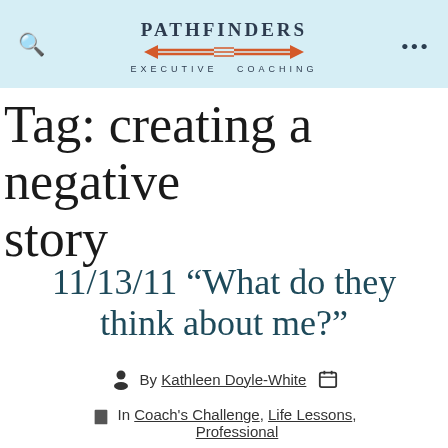PATHFINDERS EXECUTIVE COACHING
Tag: creating a negative story
11/13/11 “What do they think about me?”
By Kathleen Doyle-White
In Coach's Challenge, Life Lessons, Professional